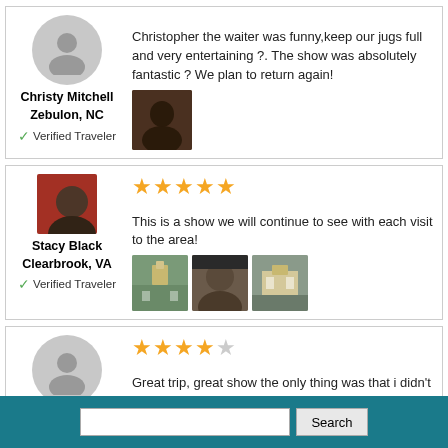Christy Mitchell
Zebulon, NC
✓ Verified Traveler
Christopher the waiter was funny,keep our jugs full and very entertaining ?. The show was absolutely fantastic ? We plan to return again!
Stacy Black
Clearbrook, VA
✓ Verified Traveler
★★★★★
This is a show we will continue to see with each visit to the area!
Rebecca Watson
★★★★☆
Great trip, great show the only thing was that i didn't like was our hotel, i feel we overpaid for our stay